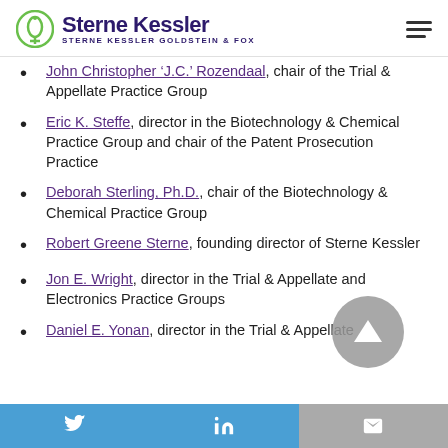Sterne Kessler | Sterne Kessler Goldstein & Fox
John Christopher ‘J.C.’ Rozendaal, chair of the Trial & Appellate Practice Group
Eric K. Steffe, director in the Biotechnology & Chemical Practice Group and chair of the Patent Prosecution Practice
Deborah Sterling, Ph.D., chair of the Biotechnology & Chemical Practice Group
Robert Greene Sterne, founding director of Sterne Kessler
Jon E. Wright, director in the Trial & Appellate and Electronics Practice Groups
Daniel E. Yonan, director in the Trial & Appellate
Twitter | LinkedIn | Email